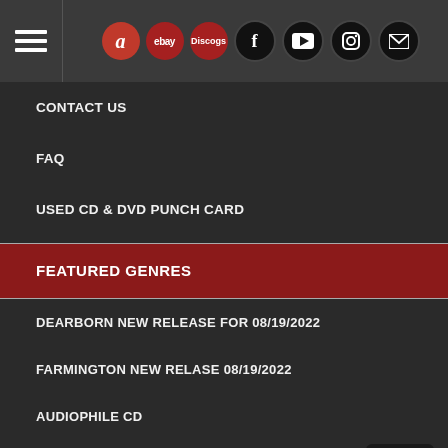Navigation header with hamburger menu and social/store icons: Amazon, eBay, Discogs, Facebook, YouTube, Instagram, Email
CONTACT US
FAQ
USED CD & DVD PUNCH CARD
FEATURED GENRES
DEARBORN NEW RELEASE FOR 08/19/2022
FARMINGTON NEW RELASE 08/19/2022
AUDIOPHILE CD
AUDIOPHILE VINYL
JUST ARRIVED VINYL